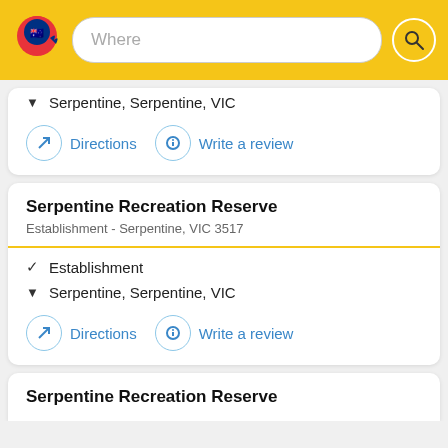[Figure (screenshot): App top bar with yellow background, map pin logo with Australian flag, search box showing 'Where', and search icon button]
▼  Serpentine, Serpentine, VIC
Directions   Write a review
Serpentine Recreation Reserve
Establishment - Serpentine, VIC 3517
✓  Establishment
▼  Serpentine, Serpentine, VIC
Directions   Write a review
Serpentine Recreation Reserve